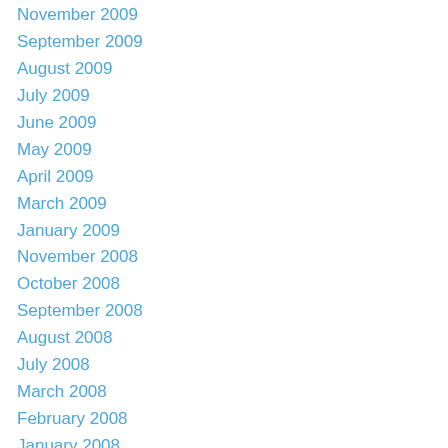November 2009
September 2009
August 2009
July 2009
June 2009
May 2009
April 2009
March 2009
January 2009
November 2008
October 2008
September 2008
August 2008
July 2008
March 2008
February 2008
January 2008
December 2007
November 2007
October 2007